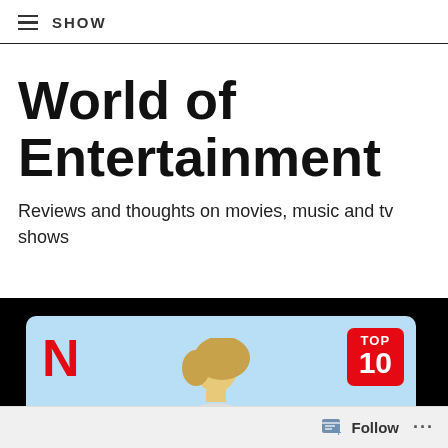SHOW
World of Entertainment
Reviews and thoughts on movies, music and tv shows
[Figure (photo): Netflix TOP 10 promotional card on black background, showing Netflix N logo in red on light blue card, TOP 10 badge in red on upper right, and a person with blonde hair visible in the center of the card.]
Follow ...